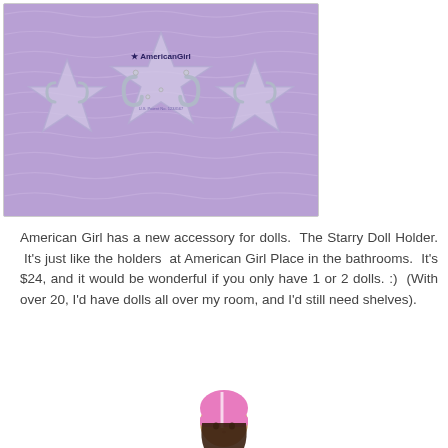[Figure (photo): American Girl Starry Doll Holder product photo — a star-shaped clear acrylic doll stand with two metal J-hooks, mounted on a purple wavy-patterned background, with the American Girl logo printed on it.]
American Girl has a new accessory for dolls.  The Starry Doll Holder.  It's just like the holders at American Girl Place in the bathrooms.  It's $24, and it would be wonderful if you only have 1 or 2 dolls. :)  (With over 20, I'd have dolls all over my room, and I'd still need shelves).
[Figure (photo): Partial view of an American Girl doll wearing a pink helmet, visible from approximately the shoulders up, cropped at the bottom of the page.]